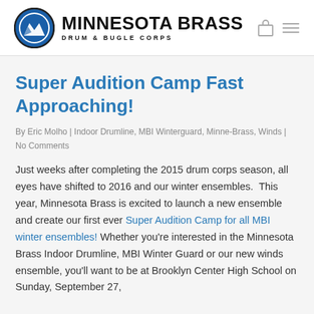Minnesota Brass Drum & Bugle Corps
Super Audition Camp Fast Approaching!
By Eric Molho | Indoor Drumline, MBI Winterguard, Minne-Brass, Winds |
No Comments
Just weeks after completing the 2015 drum corps season, all eyes have shifted to 2016 and our winter ensembles.  This year, Minnesota Brass is excited to launch a new ensemble and create our first ever Super Audition Camp for all MBI winter ensembles!  Whether you're interested in the Minnesota Brass Indoor Drumline, MBI Winter Guard or our new winds ensemble, you'll want to be at Brooklyn Center High School on Sunday, September 27,